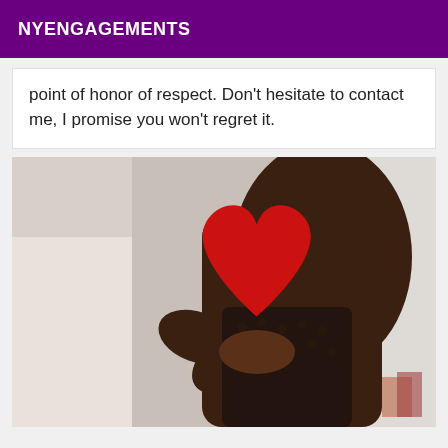NYENGAGEMENTS
point of honor of respect. Don't hesitate to contact me, I promise you won't regret it.
[Figure (photo): Photo of a person in black lace lingerie with a large red heart emoji overlaid to obscure their face/identity. Background is a light-colored room.]